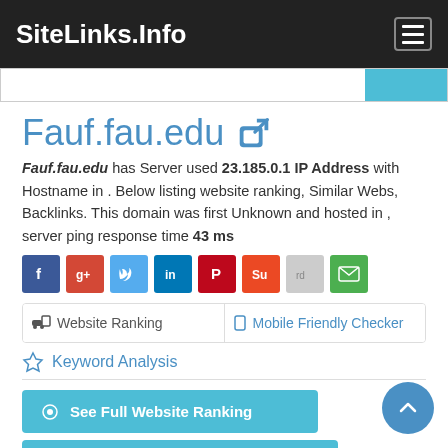SiteLinks.Info
Fauf.fau.edu
Fauf.fau.edu has Server used 23.185.0.1 IP Address with Hostname in . Below listing website ranking, Similar Webs, Backlinks. This domain was first Unknown and hosted in , server ping response time 43 ms
[Figure (infographic): Social sharing icons: Facebook, Google+, Twitter, LinkedIn, Pinterest, StumbleUpon, Reddit, Email]
Website Ranking | Mobile Friendly Checker
Keyword Analysis
See Full Website Ranking
Top 500,000 Alexa Ranking